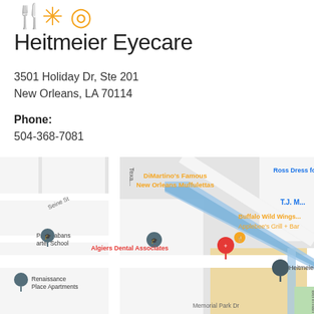[Figure (logo): Yelp-style logo icons: fork/spoon, snowflake, and circle/sun in orange/gold]
Heitmeier Eyecare
3501 Holiday Dr, Ste 201
New Orleans, LA 70114
Phone:
504-368-7081
[Figure (map): Google Maps screenshot showing Heitmeier Eyecare location at Holiday Dr, New Orleans. Nearby landmarks include DiMartino's Famous New Orleans Muffulettas, Ross Dress for Less, T.J. Maxx, Buffalo Wild Wings, Applebee's Grill + Bar, Algiers Dental Associates, Paul Habans Charter School, Renaissance Place Apartments, Rouses Market, Memorial Park Dr.]